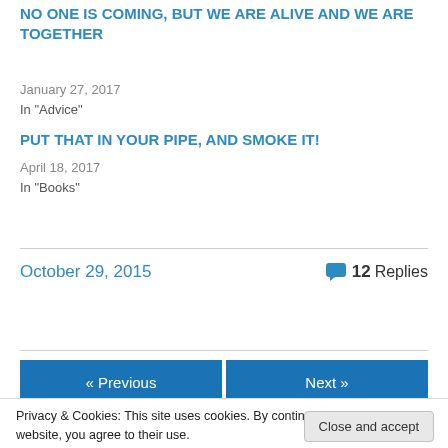NO ONE IS COMING, BUT WE ARE ALIVE AND WE ARE TOGETHER
January 27, 2017
In "Advice"
PUT THAT IN YOUR PIPE, AND SMOKE IT!
April 18, 2017
In "Books"
October 29, 2015    12 Replies
« Previous    Next »
Privacy & Cookies: This site uses cookies. By continuing to use this website, you agree to their use. To find out more, including how to control cookies, see here: Cookie Policy
Close and accept
are married